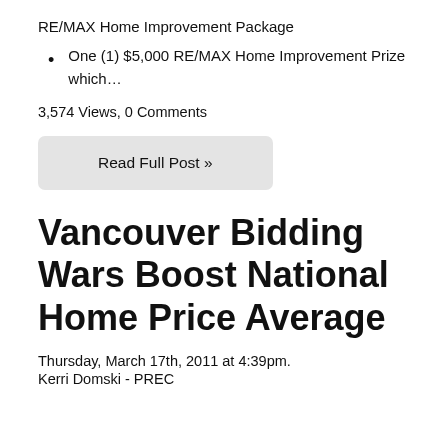RE/MAX Home Improvement Package
One (1) $5,000 RE/MAX Home Improvement Prize which…
3,574 Views, 0 Comments
Read Full Post »
Vancouver Bidding Wars Boost National Home Price Average
Thursday, March 17th, 2011 at 4:39pm.
Kerri Domski - PREC